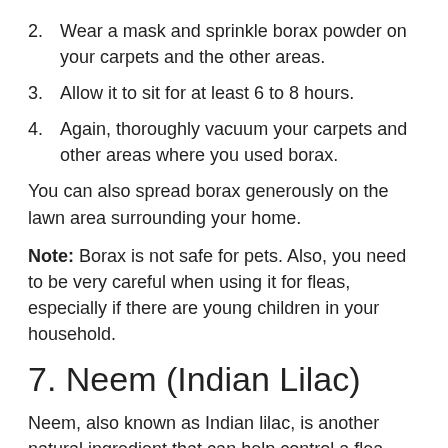2. Wear a mask and sprinkle borax powder on your carpets and the other areas.
3. Allow it to sit for at least 6 to 8 hours.
4. Again, thoroughly vacuum your carpets and other areas where you used borax.
You can also spread borax generously on the lawn area surrounding your home.
Note: Borax is not safe for pets. Also, you need to be very careful when using it for fleas, especially if there are young children in your household.
7. Neem (Indian Lilac)
Neem, also known as Indian lilac, is another natural ingredient that can help control a flea infestation in your